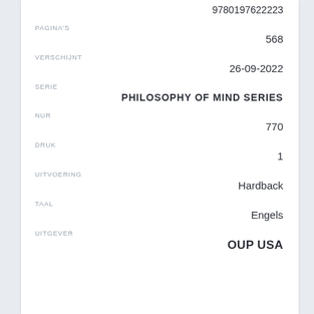9780197622223
PAGINA'S
568
VERSCHIJNT
26-09-2022
SERIE
PHILOSOPHY OF MIND SERIES
NUR
770
DRUK
1
UITVOERING
Hardback
TAAL
Engels
UITGEVER
OUP USA